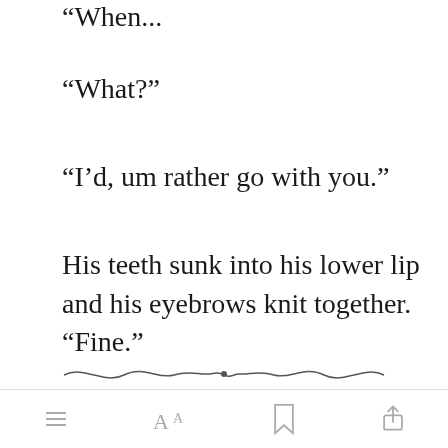"When...
"What?"
"I'd, um rather go with you."
His teeth sunk into his lower lip and his eyebrows knit together. "Fine."
[Figure (illustration): Decorative divider: a wavy ornamental line with a small circular element in the center]
"What is it that you are doing?"
[Figure (screenshot): Green 'Open in app' button overlay]
Bottom navigation bar with menu, font size, bookmark, and share icons